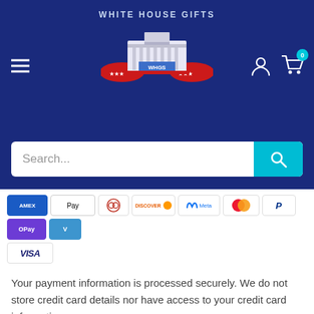[Figure (screenshot): White House Gifts website header with logo, hamburger menu, user icon, and cart icon showing 0 items]
[Figure (screenshot): Search bar with placeholder text 'Search...' and teal search button]
[Figure (infographic): Payment method icons row: Amex, Apple Pay, Diners, Discover, Meta, Mastercard, PayPal, OPay, Venmo, Visa]
Your payment information is processed securely. We do not store credit card details nor have access to your credit card information.
Our website uses cookies in order to provide the most relevant information. Please accept cookies for optimal performance.
[Figure (screenshot): Accept Cookies button in dark blue]